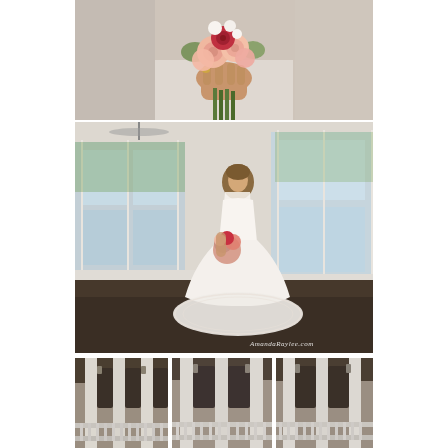[Figure (photo): Close-up of a bride's hands holding a bouquet of pink, red, and white roses with greenery against a white lace wedding dress background.]
[Figure (photo): Full-length portrait of a bride in a white lace wedding gown with a long train, standing in a bright room with large windows, holding a bouquet. Watermark reads 'AmandaRaylee.com'.]
[Figure (photo): Bottom left panel: interior architectural detail showing white columns and a balcony railing in a venue.]
[Figure (photo): Bottom center panel: interior architectural detail showing white columns and venue balcony area.]
[Figure (photo): Bottom right panel: interior architectural detail showing white columns and venue balcony area.]